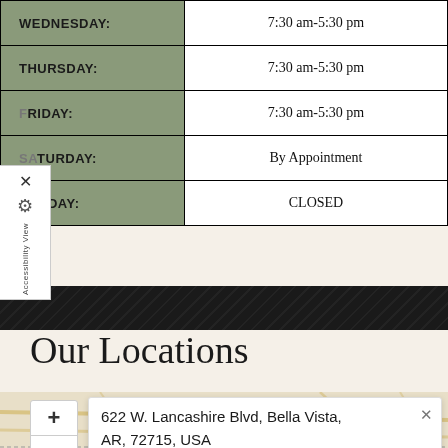| DAY | HOURS |
| --- | --- |
| WEDNESDAY: | 7:30 am-5:30 pm |
| THURSDAY: | 7:30 am-5:30 pm |
| FRIDAY: | 7:30 am-5:30 pm |
| SATURDAY: | By Appointment |
| SUNDAY: | CLOSED |
Our Locations
[Figure (map): Interactive map showing location at 622 W. Lancashire Blvd, Bella Vista, AR, 72715, USA with zoom controls and address popup]
622 W. Lancashire Blvd, Bella Vista, AR, 72715, USA